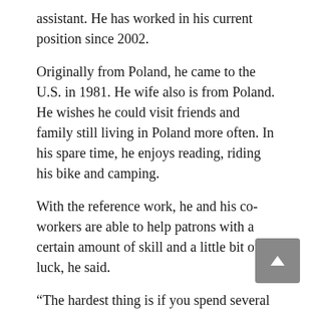assistant. He has worked in his current position since 2002.
Originally from Poland, he came to the U.S. in 1981. He wife also is from Poland. He wishes he could visit friends and family still living in Poland more often. In his spare time, he enjoys reading, riding his bike and camping.
With the reference work, he and his co-workers are able to help patrons with a certain amount of skill and a little bit of luck, he said.
“The hardest thing is if you spend several days trying to research a question and you come up empty,” he said. “There are certain things that can’t be found out or can’t be found out with what I have to work with.”
Some questions are more fun than others, such as finding some obscure situations in history.